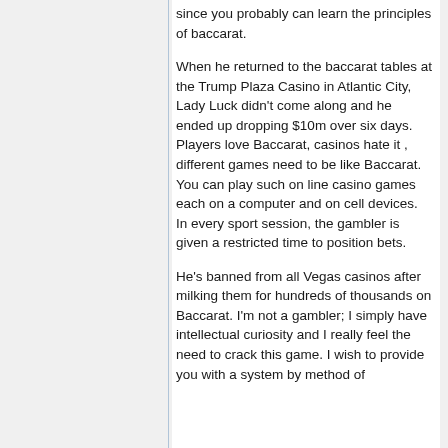since you probably can learn the principles of baccarat.
When he returned to the baccarat tables at the Trump Plaza Casino in Atlantic City, Lady Luck didn't come along and he ended up dropping $10m over six days. Players love Baccarat, casinos hate it , different games need to be like Baccarat. You can play such on line casino games each on a computer and on cell devices. In every sport session, the gambler is given a restricted time to position bets.
He's banned from all Vegas casinos after milking them for hundreds of thousands on Baccarat. I'm not a gambler; I simply have intellectual curiosity and I really feel the need to crack this game. I wish to provide you with a system by method of